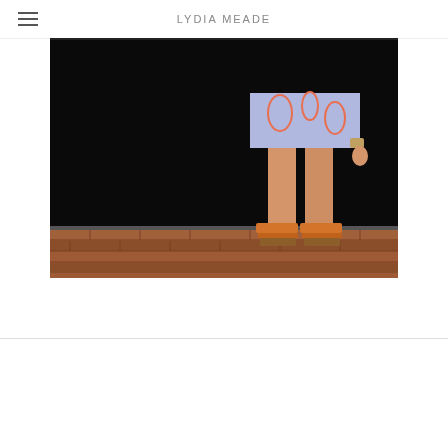LYDIA MEADE
[Figure (photo): A person wearing a lavender/blue patterned dress with coral print and orange slide sandals, standing on a brick sidewalk in front of a black storefront door. The photo shows the lower half of the person from approximately the waist down.]